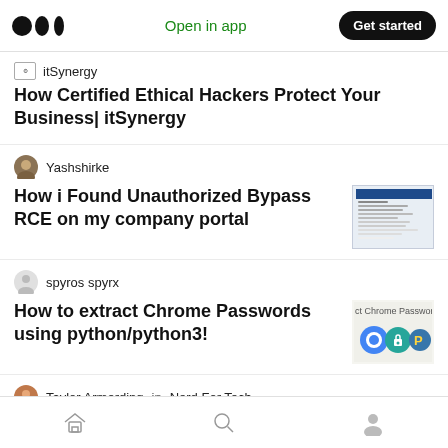Medium app header with logo, Open in app, Get started
itSynergy
How Certified Ethical Hackers Protect Your Business| itSynergy
Yashshirke
How i Found Unauthorized Bypass RCE on my company portal
spyros spyrx
How to extract Chrome Passwords using python/python3!
Taylor Armerding in Nerd For Tech
Home | Search | Profile navigation icons